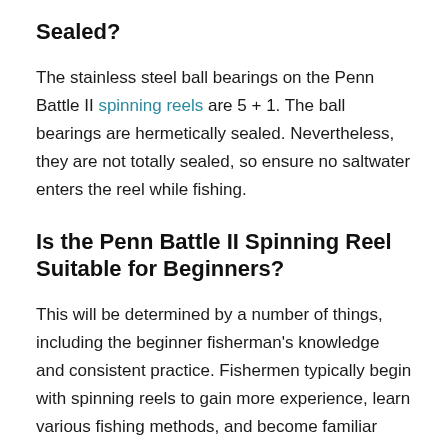Sealed?
The stainless steel ball bearings on the Penn Battle II spinning reels are 5 + 1. The ball bearings are hermetically sealed. Nevertheless, they are not totally sealed, so ensure no saltwater enters the reel while fishing.
Is the Penn Battle II Spinning Reel Suitable for Beginners?
This will be determined by a number of things, including the beginner fisherman's knowledge and consistent practice. Fishermen typically begin with spinning reels to gain more experience, learn various fishing methods, and become familiar with